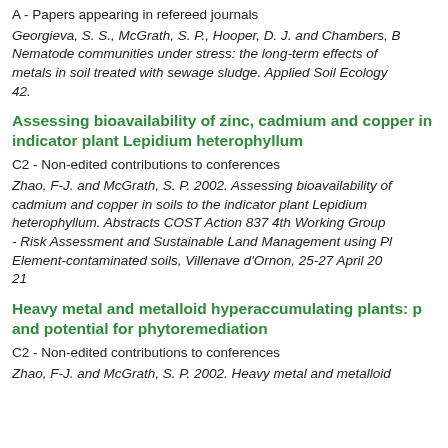A - Papers appearing in refereed journals
Georgieva, S. S., McGrath, S. P., Hooper, D. J. and Chambers, B. Nematode communities under stress: the long-term effects of metals in soil treated with sewage sludge. Applied Soil Ecology. 42.
Assessing bioavailability of zinc, cadmium and copper in indicator plant Lepidium heterophyllum
C2 - Non-edited contributions to conferences
Zhao, F-J. and McGrath, S. P. 2002. Assessing bioavailability of cadmium and copper in soils to the indicator plant Lepidium heterophyllum. Abstracts COST Action 837 4th Working Group - Risk Assessment and Sustainable Land Management using Pl Element-contaminated soils, Villenave d'Ornon, 25-27 April 20 21
Heavy metal and metalloid hyperaccumulating plants: p and potential for phytoremediation
C2 - Non-edited contributions to conferences
Zhao, F-J. and McGrath, S. P. 2002. Heavy metal and metalloid